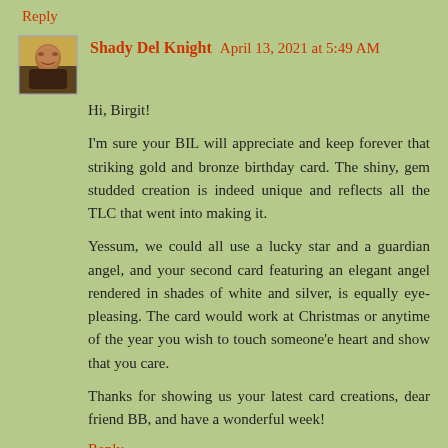Reply
Shady Del Knight  April 13, 2021 at 5:49 AM
Hi, Birgit!
I'm sure your BIL will appreciate and keep forever that striking gold and bronze birthday card. The shiny, gem studded creation is indeed unique and reflects all the TLC that went into making it.
Yessum, we could all use a lucky star and a guardian angel, and your second card featuring an elegant angel rendered in shades of white and silver, is equally eye-pleasing. The card would work at Christmas or anytime of the year you wish to touch someone'e heart and show that you care.
Thanks for showing us your latest card creations, dear friend BB, and have a wonderful week!
Reply